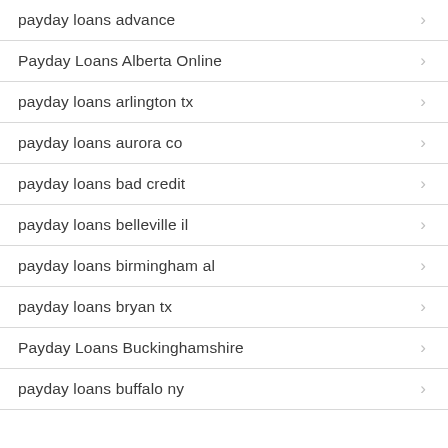payday loans advance
Payday Loans Alberta Online
payday loans arlington tx
payday loans aurora co
payday loans bad credit
payday loans belleville il
payday loans birmingham al
payday loans bryan tx
Payday Loans Buckinghamshire
payday loans buffalo ny